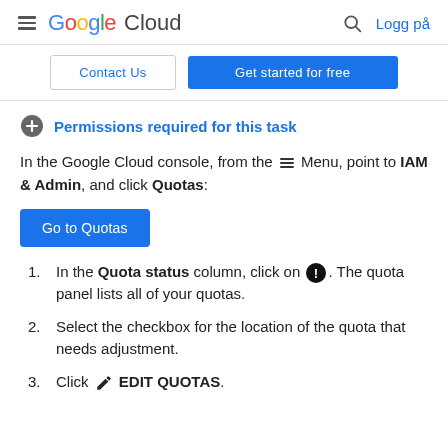Google Cloud — Logg på
Contact Us | Get started for free
Permissions required for this task
In the Google Cloud console, from the Menu, point to IAM & Admin, and click Quotas:
Go to Quotas
In the Quota status column, click on [info icon]. The quota panel lists all of your quotas.
Select the checkbox for the location of the quota that needs adjustment.
Click [pencil icon] EDIT QUOTAS.